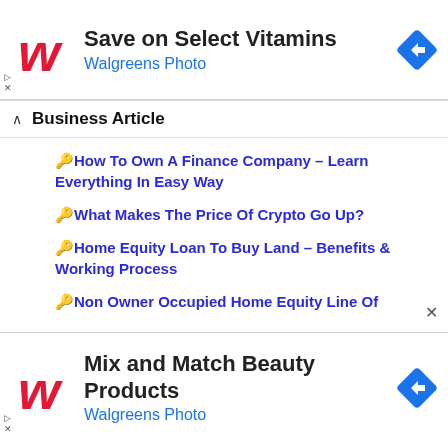[Figure (screenshot): Walgreens ad banner: logo, 'Save on Select Vitamins', 'Walgreens Photo', navigation arrow icon, play/close controls]
Business Article
How To Own A Finance Company – Learn Everything In Easy Way
What Makes The Price Of Crypto Go Up?
Home Equity Loan To Buy Land – Benefits & Working Process
Non Owner Occupied Home Equity Line Of
[Figure (screenshot): Walgreens ad banner: logo, 'Mix and Match Beauty Products', 'Walgreens Photo', navigation arrow icon, play/close controls]